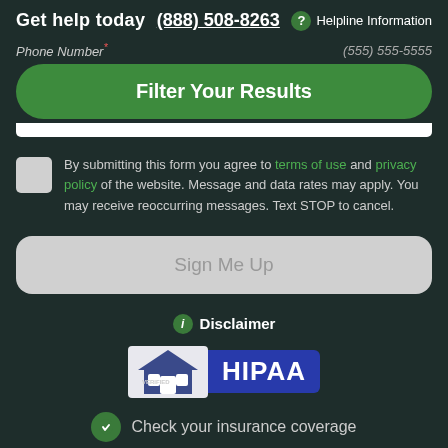Get help today   (888) 508-8263   ? Helpline Information
Phone Number * (555) 555-5555
Filter Your Results
By submitting this form you agree to terms of use and privacy policy of the website. Message and data rates may apply. You may receive reoccurring messages. Text STOP to cancel.
Sign Me Up
Disclaimer
[Figure (logo): VERIFIED HIPAA badge logo with house icon and blue HIPAA text]
Check your insurance coverage